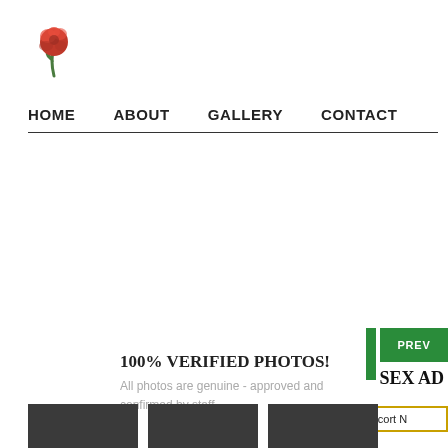[Figure (illustration): Red rose emoji/icon used as website logo]
HOME   ABOUT   GALLERY   CONTACT
100% VERIFIED PHOTOS!
All photos are genuine - approved and confirmed by staff.
[Figure (other): Green PREV button with green bar beside it]
SEX AD
[Figure (other): Yellow-bordered Escort N button]
[Figure (photo): Three dark thumbnail images in a row at the bottom]